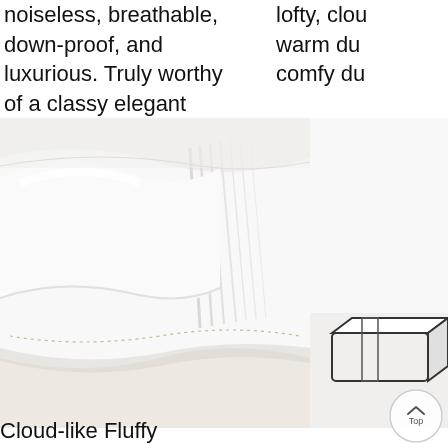noiseless, breathable, down-proof, and luxurious. Truly worthy of a classy elegant suite and found in world class hotels.
lofty, clo... warm du... comfy du...
[Figure (photo): Close-up photo of a white down comforter/duvet showing fluffy fabric folds and a decorative stitched border seam, with a secondary image on the right showing a diagram/illustration of a duvet insert]
Cloud-like Fluffy